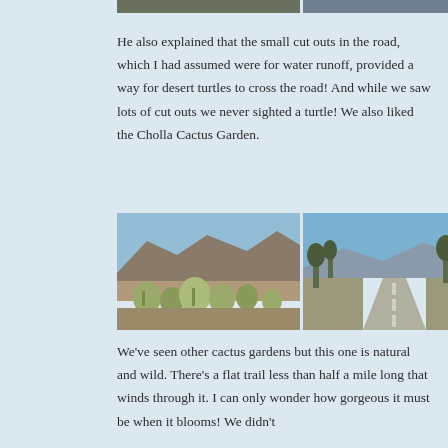[Figure (photo): Two outdoor/landscape photos cropped at the top of the page (partial view)]
He also explained that the small cut outs in the road, which I had assumed were for water runoff, provided a way for desert turtles to cross the road! And while we saw lots of cut outs we never sighted a turtle! We also liked the Cholla Cactus Garden.
[Figure (photo): Two side-by-side photos: left shows Cholla cactus garden with mountains in the background under a clear blue sky; right shows a desert road lined with Joshua trees and brush under a clear blue sky.]
We've seen other cactus gardens but this one is natural and wild.  There's a flat trail less than half a mile long that winds through it.  I can only wonder how gorgeous it must be when it blooms! We didn't